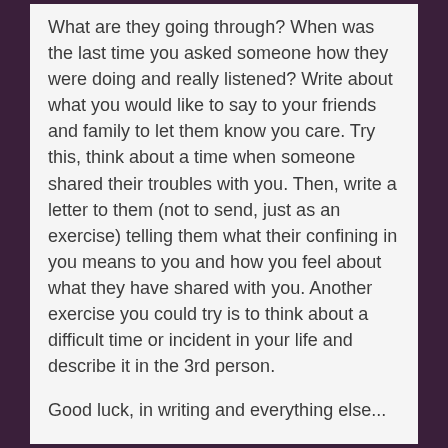What are they going through? When was the last time you asked someone how they were doing and really listened? Write about what you would like to say to your friends and family to let them know you care. Try this, think about a time when someone shared their troubles with you. Then, write a letter to them (not to send, just as an exercise) telling them what their confining in you means to you and how you feel about what they have shared with you. Another exercise you could try is to think about a difficult time or incident in your life and describe it in the 3rd person.
Good luck, in writing and everything else...